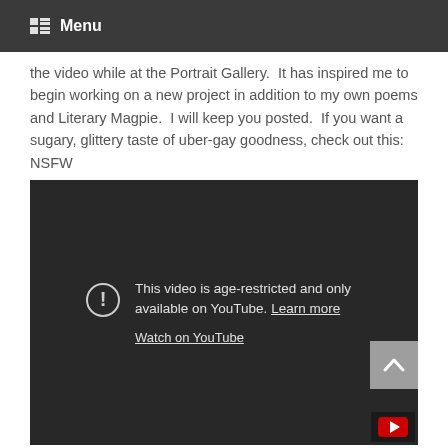Menu
the video while at the Portrait Gallery.  It has inspired me to begin working on a new project in addition to my own poems and Literary Magpie.  I will keep you posted.  If you want a sugary, glittery taste of uber-gay goodness, check out this: NSFW
[Figure (screenshot): Embedded YouTube video player showing age-restriction message: 'This video is age-restricted and only available on YouTube. Learn more' with a 'Watch on YouTube' link, on a dark background.]